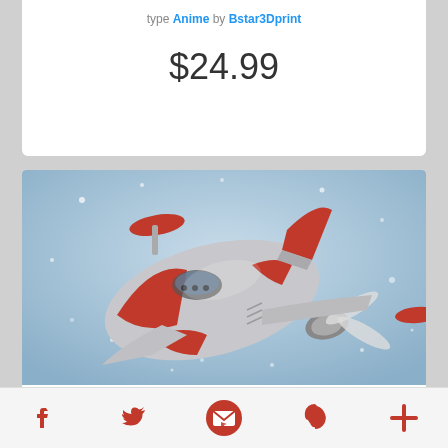type Anime by Bstar3Dprint
$24.99
[Figure (photo): 3D rendered image of a red and silver anime-style flying vehicle (Spazer spacecraft) against a light blue sky background with small white particles floating around it.]
★ ★ ★ ★ ★ (4)
Follow us
Spazer 3D Printing Model | Assembly + Action